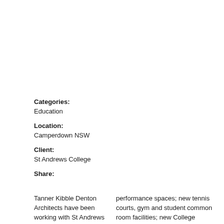Categories:
Education
Location:
Camperdown NSW
Client:
St Andrews College
Share:
Tanner Kibble Denton Architects have been working with St Andrews College at the University
performance spaces; new tennis courts, gym and student common room facilities; new College